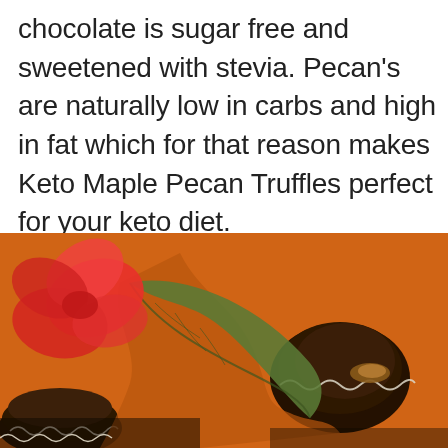chocolate is sugar free and sweetened with stevia. Pecan's are naturally low in carbs and high in fat which for that reason makes Keto Maple Pecan Truffles perfect for your keto diet.
[Figure (photo): Close-up photo of chocolate Keto Maple Pecan Truffles in paper candy cups, with an orange autumn leaf, a red flower, and green leaves as decoration, set on an orange background.]